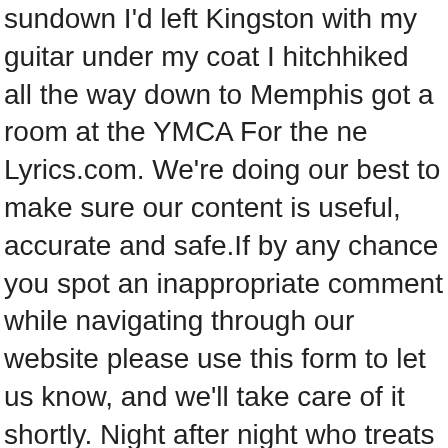sundown I'd left Kingston with my guitar under my coat I hitchhiked all the way down to Memphis got a room at the YMCA For the ne Lyrics.com. We're doing our best to make sure our content is useful, accurate and safe.If by any chance you spot an inappropriate comment while navigating through our website please use this form to let us know, and we'll take care of it shortly. Night after night who treats you right, baby it's the guitar man Who's on the radio, you go listen to the guitar man Chords ratings, diagrams and lyrics. A little four-piece band was jammin', On a overloaded poultry truck, Your Comment. Bread - Guitar Man. Think you know music? Baby, it's the guitar man He can mak   Makin' music on my guitar, I got the same old story at them all night piers, There ain't no room around here for a guitar man We don't need a guitar man, son. When he [Em] comes to town and you [C] see his face. Review: RIFF-it. Guitar Man Chords by Elvis Presley. I can play the blues, I can play some jazz . Makin' music on my